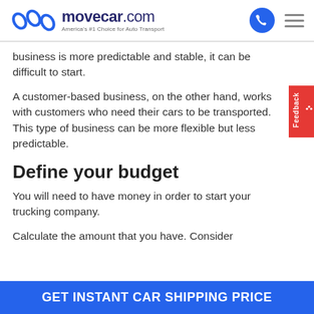movecar.com — America's #1 Choice for Auto Transport
business is more predictable and stable, it can be difficult to start.
A customer-based business, on the other hand, works with customers who need their cars to be transported. This type of business can be more flexible but less predictable.
Define your budget
You will need to have money in order to start your trucking company.
Calculate the amount that you have. Consider
GET INSTANT CAR SHIPPING PRICE